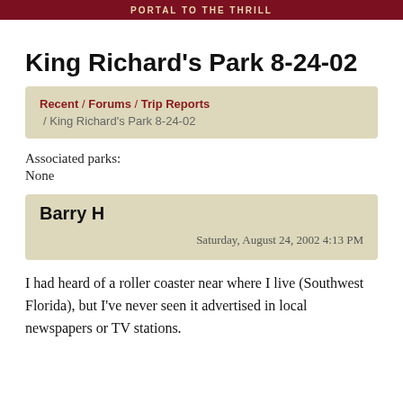PORTAL TO THE THRILL
King Richard's Park 8-24-02
Recent / Forums / Trip Reports / King Richard's Park 8-24-02
Associated parks:
None
Barry H
Saturday, August 24, 2002 4:13 PM
I had heard of a roller coaster near where I live (Southwest Florida), but I've never seen it advertised in local newspapers or TV stations.